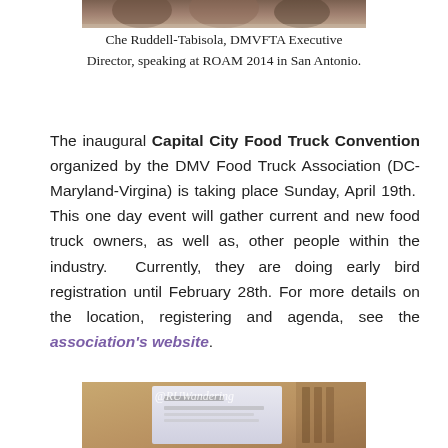[Figure (photo): Partial photo of people at a conference, cropped at top of page]
Che Ruddell-Tabisola, DMVFTA Executive Director, speaking at ROAM 2014 in San Antonio.
The inaugural Capital City Food Truck Convention organized by the DMV Food Truck Association (DC-Maryland-Virgina) is taking place Sunday, April 19th.  This one day event will gather current and new food truck owners, as well as, other people within the industry.  Currently, they are doing early bird registration until February 28th. For more details on the location, registering and agenda, see the association's website.
[Figure (photo): Photo of a presentation screen/projector setup with @RUWandering watermark]